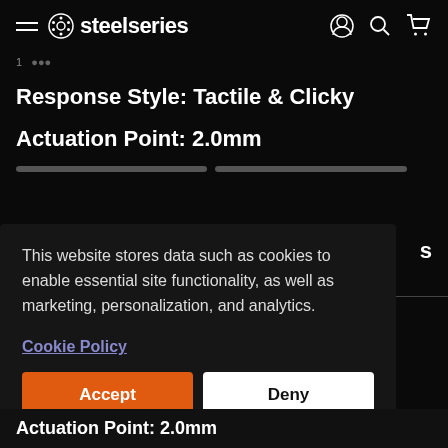steelseries
Response Style: Tactile & Clicky
Actuation Point: 2.0mm
This website stores data such as cookies to enable essential site functionality, as well as marketing, personalization, and analytics.
Cookie Policy
Accept
Deny
Actuation Point: 2.0mm